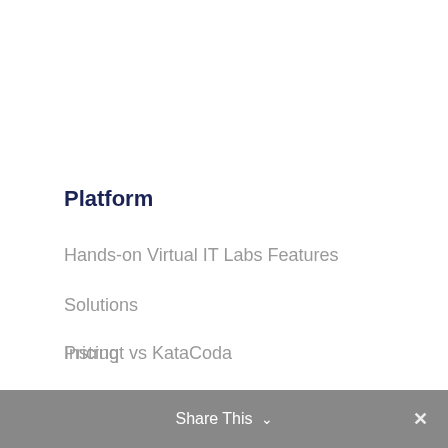Platform
Hands-on Virtual IT Labs Features
Solutions
Pricing
Instruqt vs KataCoda
Instruqt vs CloudShare
Share This ∨  ✕